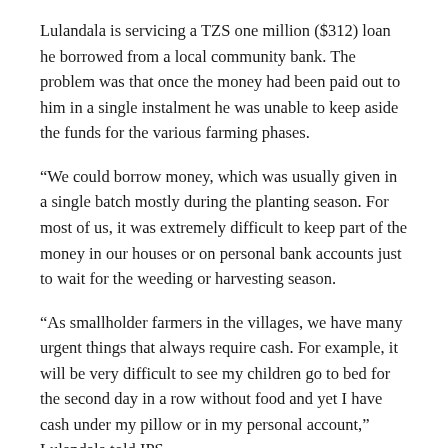Lulandala is servicing a TZS one million ($312) loan he borrowed from a local community bank. The problem was that once the money had been paid out to him in a single instalment he was unable to keep aside the funds for the various farming phases.
“We could borrow money, which was usually given in a single batch mostly during the planting season. For most of us, it was extremely difficult to keep part of the money in our houses or on personal bank accounts just to wait for the weeding or harvesting season.
“As smallholder farmers in the villages, we have many urgent things that always require cash. For example, it will be very difficult to see my children go to bed for the second day in a row without food and yet I have cash under my pillow or in my personal account,” Lulandala told IPS.
That was until three years ago when an innovative new money lending product became available in his village. Through the new model, smallholder farmers who belong to particular groups (like farmer groups or reside in certain villages), are expected to save some money